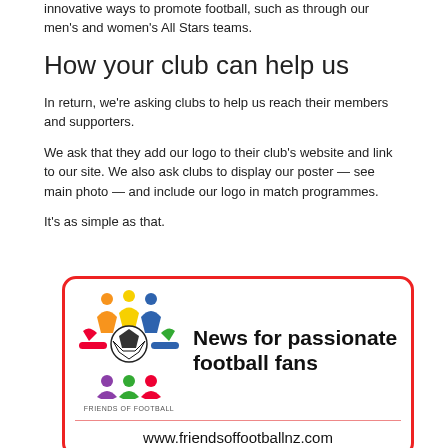innovative ways to promote football, such as through our men's and women's All Stars teams.
How your club can help us
In return, we're asking clubs to help us reach their members and supporters.
We ask that they add our logo to their club's website and link to our site. We also ask clubs to display our poster — see main photo — and include our logo in match programmes.
It's as simple as that.
[Figure (logo): Friends of Football logo with colourful figures around a football, text 'FRIENDS OF FOOTBALL', tagline 'News for passionate football fans', and website www.friendsoffootballnz.com in a red-bordered box]